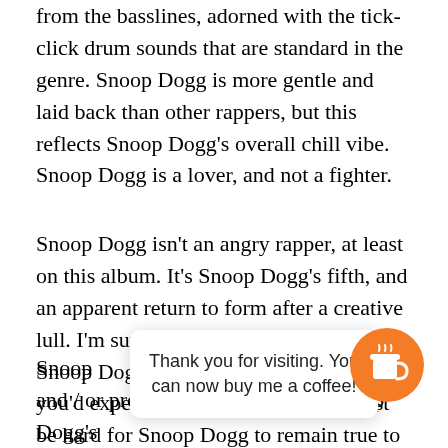from the basslines, adorned with the tick-click drum sounds that are standard in the genre. Snoop Dogg is more gentle and laid back than other rappers, but this reflects Snoop Dogg's overall chill vibe. Snoop Dogg is a lover, and not a fighter.
Snoop Dogg isn't an angry rapper, at least on this album. It's Snoop Dogg's fifth, and an apparent return to form after a creative lull. I'm sure after a four-album career, Snoop Dogg has attained all the trappings you'd expect of a famous rapper. It must be hard for Snoop Dogg to remain true to his Gangster roots, but Snoop Dogg tries to keep it real. W                                                   he circum
[Figure (other): A popup notification banner reading 'Thank you for visiting. You can now buy me a coffee!' with an orange circular button showing a coffee cup icon on the right.]
Snoop                                                          nen and / or produce on many songs. Snoop Dogg's